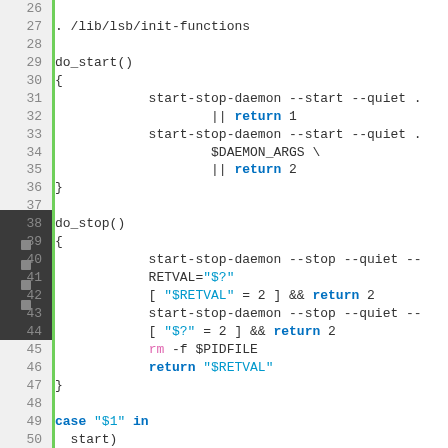[Figure (screenshot): Source code viewer showing shell script lines 26-56. Contains do_start() and do_stop() functions with start-stop-daemon commands, and a case statement. Syntax highlighted with blue keywords, cyan strings, pink commands, and line numbers in gray on left gutter with green vertical bar.]